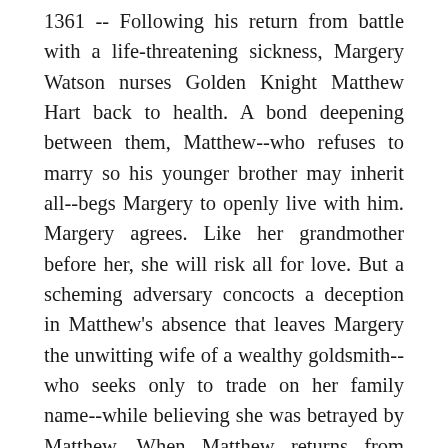1361 -- Following his return from battle with a life-threatening sickness, Margery Watson nurses Golden Knight Matthew Hart back to health. A bond deepening between them, Matthew--who refuses to marry so his younger brother may inherit all--begs Margery to openly live with him. Margery agrees. Like her grandmother before her, she will risk all for love. But a scheming adversary concocts a deception in Matthew's absence that leaves Margery the unwitting wife of a wealthy goldsmith--who seeks only to trade on her family name--while believing she was betrayed by Matthew. When Matthew returns from London to find Margery wedded and bedded, he accuses her of betraying HIM. Now, both Margery and Matthew foolishly believe that time, distance and heartbreak will be enough to keep them forever apart. From the Publisher: